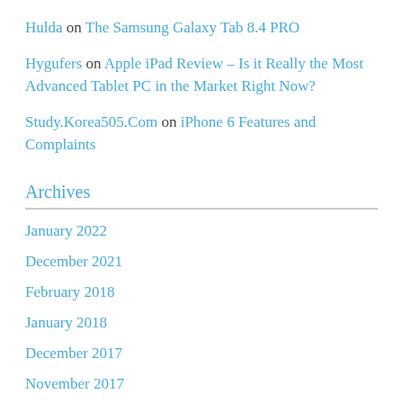Hulda on The Samsung Galaxy Tab 8.4 PRO
Hygufers on Apple iPad Review – Is it Really the Most Advanced Tablet PC in the Market Right Now?
Study.Korea505.Com on iPhone 6 Features and Complaints
Archives
January 2022
December 2021
February 2018
January 2018
December 2017
November 2017
October 2017
August 2017